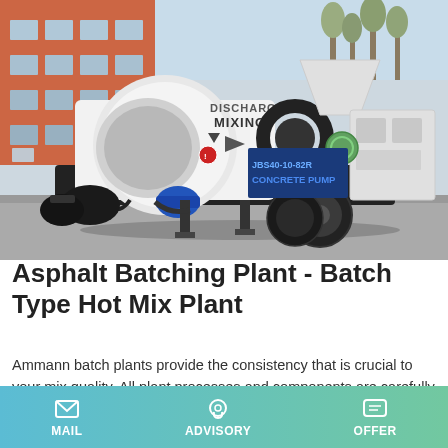[Figure (photo): A white concrete pump mixer truck (JBS40-10-82R Concrete Pump) with discharge mixing drum, parked outdoors near a building. Blue hydraulic motor visible underneath, large tire on right side.]
Asphalt Batching Plant - Batch Type Hot Mix Plant
Ammann batch plants provide the consistency that is crucial to your mix quality. All plant processes and components are carefully developed to ensure that feeding, heating, drying,
MAIL   ADVISORY   OFFER